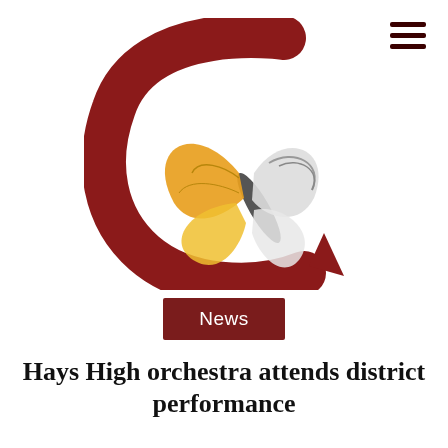[Figure (logo): Stylized red letter C with a monarch butterfly logo for what appears to be a school publication]
News
Hays High orchestra attends district performance
Jessica Feyerherm, Guidon Reporter | December 9, 2019
[Figure (photo): Interior room with red and white checkered acoustic panels on the wall]